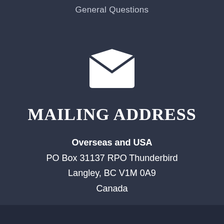General Questions
[Figure (illustration): White envelope icon on dark blue background]
MAILING ADDRESS
Overseas and USA
PO Box 31137 RPO Thunderbird
Langley, BC V1M 0A9
Canada